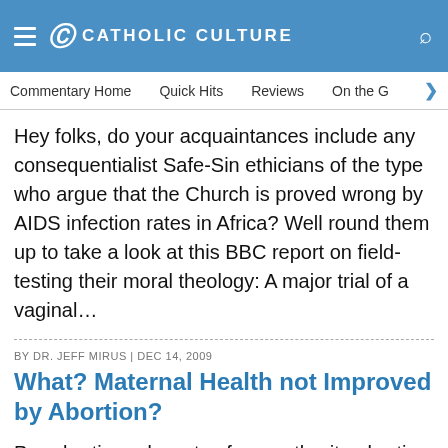CATHOLIC CULTURE
Commentary Home  Quick Hits  Reviews  On the G  >
Hey folks, do your acquaintances include any consequentialist Safe-Sin ethicians of the type who argue that the Church is proved wrong by AIDS infection rates in Africa? Well round them up to take a look at this BBC report on field-testing their moral theology: A major trial of a vaginal…
BY DR. JEFF MIRUS | DEC 14, 2009
What? Maternal Health not Improved by Abortion?
Pro-abortion advocates frequently cite abortion as essential to maternal health, and I suppose that's true if you regard conception as a disease that needs to be cured. But it's apparently not true in any other sense.